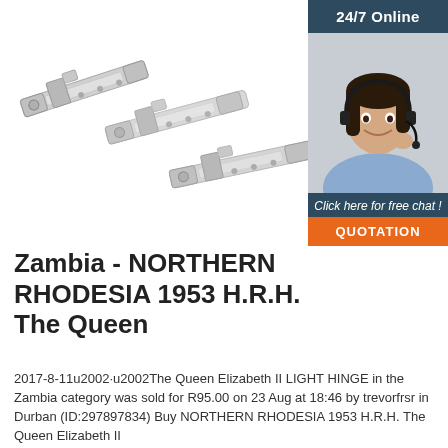[Figure (photo): Product photo of three chrome/silver door bolt hinges/latches arranged diagonally on a white background]
[Figure (photo): 24/7 Online widget showing a dark teal header with '24/7 Online' text, a photo of a smiling woman with a headset, a dark teal footer with italic text 'Click here for free chat !' and an orange button labeled 'QUOTATION']
Zambia - NORTHERN RHODESIA 1953 H.R.H. The Queen
2017-8-11u2002·u2002The Queen Elizabeth II LIGHT HINGE in the Zambia category was sold for R95.00 on 23 Aug at 18:46 by trevorfrsr in Durban (ID:297897834) Buy NORTHERN RHODESIA 1953 H.R.H. The Queen Elizabeth II